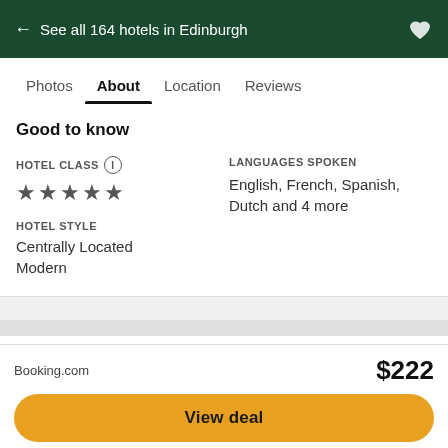← See all 164 hotels in Edinburgh
Photos  About  Location  Reviews
Good to know
HOTEL CLASS ⓘ ★★★★★
HOTEL STYLE
Centrally Located
Modern
LANGUAGES SPOKEN
English, French, Spanish, Dutch and 4 more
Location
Booking.com  $222
View deal